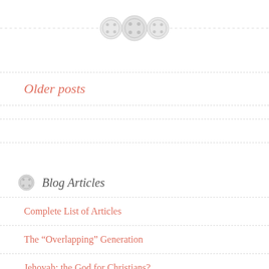[Figure (illustration): Three decorative button icons arranged horizontally with a dashed line on each side]
Older posts
Blog Articles
Complete List of Articles
The “Overlapping” Generation
Jehovah: the God for Christians?